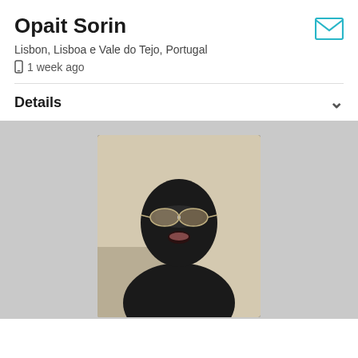Opait Sorin
Lisbon, Lisboa e Vale do Tejo, Portugal
1 week ago
Details
[Figure (photo): Person wearing a black latex mask with eye and mouth openings, wearing silver aviator sunglasses and black latex suit, photographed indoors against a light-colored couch background.]